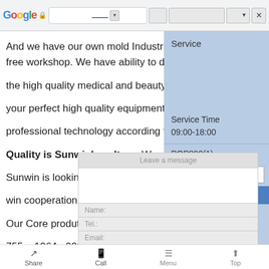[Figure (screenshot): Google browser chrome bar with address bar, navigation buttons, lock icon, and close button]
And we have our own mold Industrial and professional dust-free workshop. We have ability to design and produce the high quality medical and beauty instrument for customers, your perfect high quality equipment with professional technology according to your ideas, needs.
Quality is Sunwin's culture. We will help to form a Sunwin is looking forward to establish long-term win-win cooperation relationship with potential distributors around the world.
Our Core produts: Picosure Laser,QSwitch ND YAG laser, Fraction
[Figure (screenshot): Right-side blue panel showing Service, Service Time 09:00-18:00, POP800(1), Jason text box, POP800 System label]
[Figure (screenshot): Chat popup overlay with Leave a message placeholder, text area, Name, Tel, Email fields]
[Figure (screenshot): Bottom navigation bar with Share, Call, Menu, Top buttons]